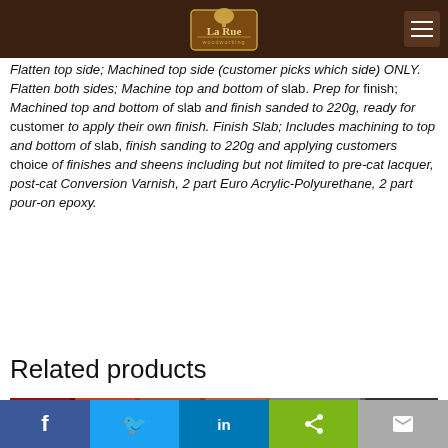La Rue Woodworking
Flatten top side; Machined top side (customer picks which side) ONLY. Flatten both sides; Machine top and bottom of slab. Prep for finish; Machined top and bottom of slab and finish sanded to 220g, ready for customer to apply their own finish. Finish Slab; Includes machining to top and bottom of slab, finish sanding to 220g and applying customers choice of finishes and sheens including but not limited to pre-cat lacquer, post-cat Conversion Varnish, 2 part Euro Acrylic-Polyurethane, 2 part pour-on epoxy.
Related products
[Figure (photo): Product image strip showing wood products]